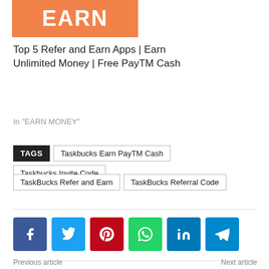[Figure (illustration): Orange banner image with white bold text showing 'EARN']
Top 5 Refer and Earn Apps | Earn Unlimited Money | Free PayTM Cash
In "EARN MONEY"
TAGS  Taskbucks Earn PayTM Cash  Taskbucks Invite Code  TaskBucks Refer and Earn  TaskBucks Referral Code
[Figure (infographic): Social sharing buttons: Facebook, Twitter, Pinterest, WhatsApp, LinkedIn, Telegram]
Previous article   Next article